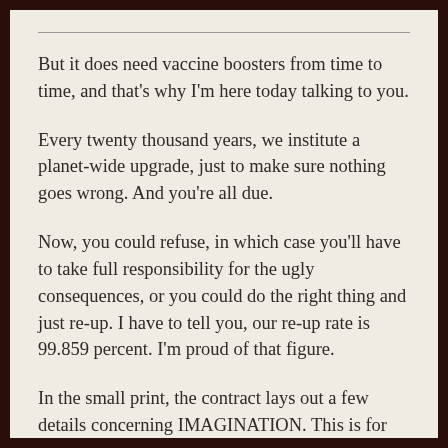But it does need vaccine boosters from time to time, and that’s why I’m here today talking to you.
Every twenty thousand years, we institute a planet-wide upgrade, just to make sure nothing goes wrong. And you’re all due.
Now, you could refuse, in which case you’ll have to take full responsibility for the ugly consequences, or you could do the right thing and just re-up. I have to tell you, our re-up rate is 99.859 percent. I’m proud of that figure.
In the small print, the contract lays out a few details concerning IMAGINATION. This is for